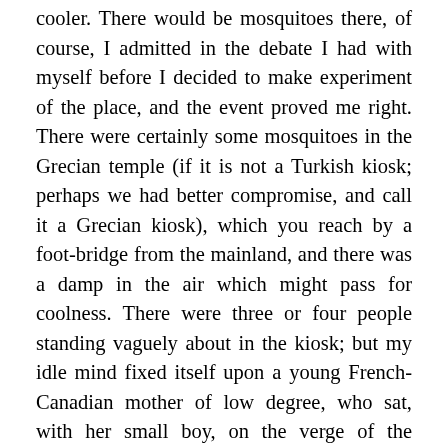cooler. There would be mosquitoes there, of course, I admitted in the debate I had with myself before I decided to make experiment of the place, and the event proved me right. There were certainly some mosquitoes in the Grecian temple (if it is not a Turkish kiosk; perhaps we had better compromise, and call it a Grecian kiosk), which you reach by a foot-bridge from the mainland, and there was a damp in the air which might pass for coolness. There were three or four people standing vaguely about in the kiosk; but my idle mind fixed itself upon a young French-Canadian mother of low degree, who sat, with her small boy, on the verge of the pavement near the water. She scolded him in their parlance for having got himself so dirty, and then she smacked his poor, filthy little hands, with a frown of superior virtue, though I did not find her so very much cleaner herself. I cannot see children beaten without a heartache, and I continued to suffer for this small wretch even after he had